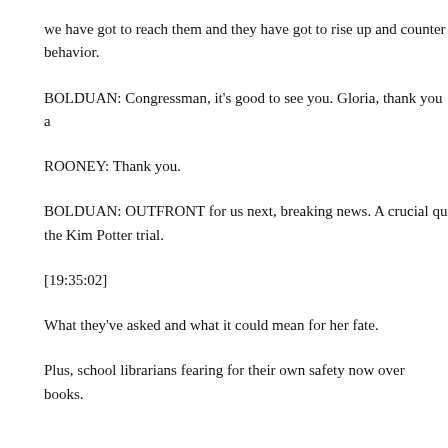we have got to reach them and they have got to rise up and counter behavior.
BOLDUAN: Congressman, it's good to see you. Gloria, thank you a
ROONEY: Thank you.
BOLDUAN: OUTFRONT for us next, breaking news. A crucial qu the Kim Potter trial.
[19:35:02]
What they've asked and what it could mean for her fate.
Plus, school librarians fearing for their own safety now over books.